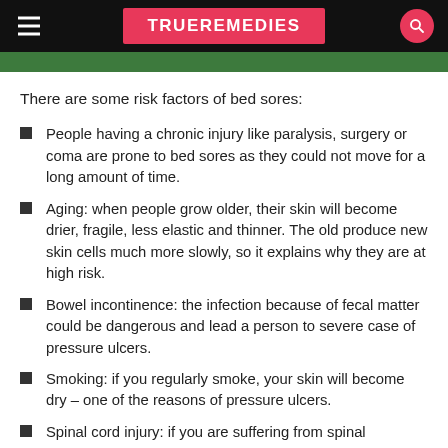TRUEREMEDIES
There are some risk factors of bed sores:
People having a chronic injury like paralysis, surgery or coma are prone to bed sores as they could not move for a long amount of time.
Aging: when people grow older, their skin will become drier, fragile, less elastic and thinner. The old produce new skin cells much more slowly, so it explains why they are at high risk.
Bowel incontinence: the infection because of fecal matter could be dangerous and lead a person to severe case of pressure ulcers.
Smoking: if you regularly smoke, your skin will become dry – one of the reasons of pressure ulcers.
Spinal cord injury: if you are suffering from spinal